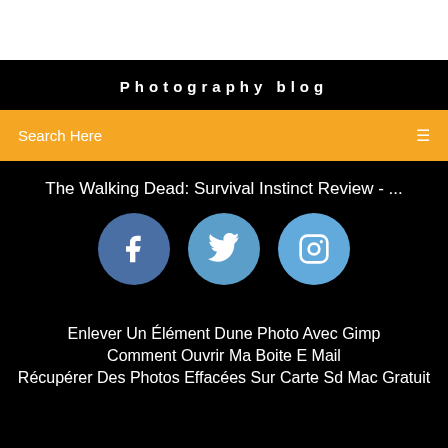Photography blog
Search Here
The Walking Dead: Survival Instinct Review - ...
[Figure (infographic): Three social media icons: Facebook (dark blue circle with 'f'), Twitter (medium blue circle with bird), Instagram (light blue circle with camera outline)]
Enlever Un Élément Dune Photo Avec Gimp
Comment Ouvrir Ma Boite E Mail
Récupérer Des Photos Effacées Sur Carte Sd Mac Gratuit